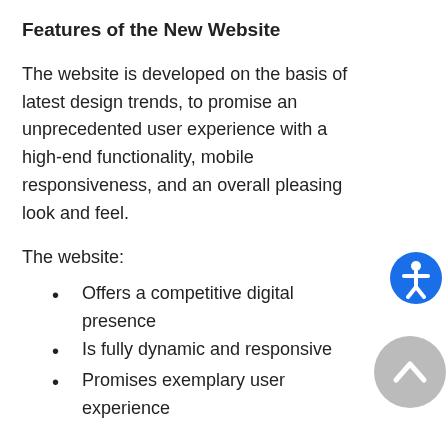Features of the New Website
The website is developed on the basis of latest design trends, to promise an unprecedented user experience with a high-end functionality, mobile responsiveness, and an overall pleasing look and feel.
The website:
Offers a competitive digital presence
Is fully dynamic and responsive
Promises exemplary user experience
Key Accomplishment
The most prized accomplishment was the client's delightful expression about